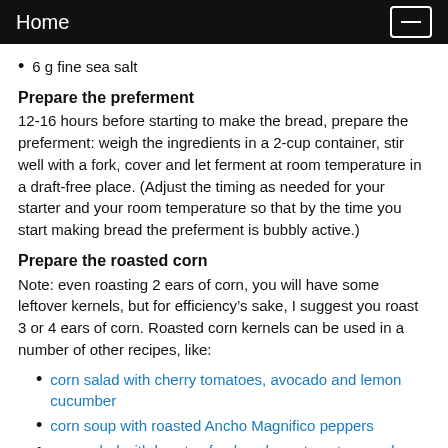Home
6 g fine sea salt
Prepare the preferment
12-16 hours before starting to make the bread, prepare the preferment: weigh the ingredients in a 2-cup container, stir well with a fork, cover and let ferment at room temperature in a draft-free place. (Adjust the timing as needed for your starter and your room temperature so that by the time you start making bread the preferment is bubbly active.)
Prepare the roasted corn
Note: even roasting 2 ears of corn, you will have some leftover kernels, but for efficiency’s sake, I suggest you roast 3 or 4 ears of corn. Roasted corn kernels can be used in a number of other recipes, like:
corn salad with cherry tomatoes, avocado and lemon cucumber
corn soup with roasted Ancho Magnifico peppers
corn salad with hearts of palm, cherry tomatoes and lemon cucumber